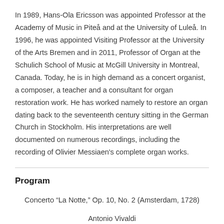In 1989, Hans-Ola Ericsson was appointed Professor at the Academy of Music in Piteå and at the University of Luleå. In 1996, he was appointed Visiting Professor at the University of the Arts Bremen and in 2011, Professor of Organ at the Schulich School of Music at McGill University in Montreal, Canada. Today, he is in high demand as a concert organist, a composer, a teacher and a consultant for organ restoration work. He has worked namely to restore an organ dating back to the seventeenth century sitting in the German Church in Stockholm. His interpretations are well documented on numerous recordings, including the recording of Olivier Messiaen's complete organ works.
Program
Concerto “La Notte,” Op. 10, No. 2 (Amsterdam, 1728)
Antonio Vivaldi